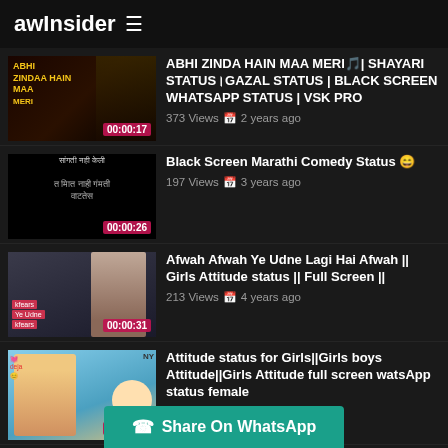awInsider ≡
[Figure (screenshot): Video thumbnail for ABHI ZINDA HAIN MAA MERI shayari status, dark background with skull art, duration 00:00:17]
ABHI ZINDA HAIN MAA MERI🎵| SHAYARI STATUS।GAZAL STATUS | BLACK SCREEN WHATSAPP STATUS | VSK PRO
373 Views 📅 2 years ago
[Figure (screenshot): Video thumbnail for Black Screen Marathi Comedy Status, dark background with Marathi text, duration 00:00:26]
Black Screen Marathi Comedy Status 😄
197 Views 📅 3 years ago
[Figure (screenshot): Video thumbnail of a girl with attitude pose, duration 00:00:31]
Afwah Afwah Ye Udne Lagi Hai Afwah || Girls Attitude status || Full Screen ||
213 Views 📅 4 years ago
[Figure (screenshot): Video thumbnail of a girl with attitude, light blue background, duration 00:00:31]
Attitude status for Girls||Girls boys Attitude||Girls Attitude full screen watsApp status female
237 Views 📅 4 years ago
[Figure (screenshot): Partial video thumbnail at bottom, dark background]
us tamil//Single Status Tamil//Single full screen
Share On WhatsApp